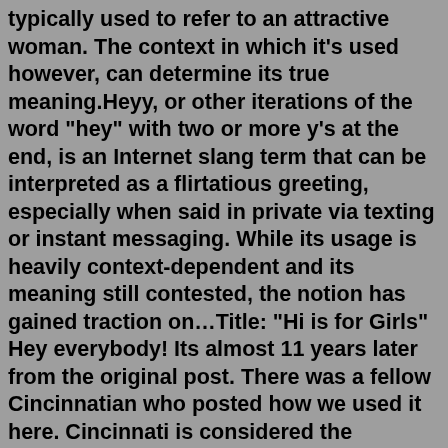typically used to refer to an attractive woman. The context in which it's used however, can determine its true meaning.Heyy, or other iterations of the word "hey" with two or more y's at the end, is an Internet slang term that can be interpreted as a flirtatious greeting, especially when said in private via texting or instant messaging. While its usage is heavily context-dependent and its meaning still contested, the notion has gained traction on…Title: "Hi is for Girls" Hey everybody! Its almost 11 years later from the original post. There was a fellow Cincinnatian who posted how we used it here. Cincinnati is considered the "Gateway to the North" & we have both Northern & Southern influences here. Hey, to my understanding, started as an exclamation followed by a comment or question ... If she is the one who strikes up a chat more than often, think no more. If a girl likes you, she will send you texts that are sure to start a conversation between you two. Girls do very less of initiation, for fear of coming across as needy or too